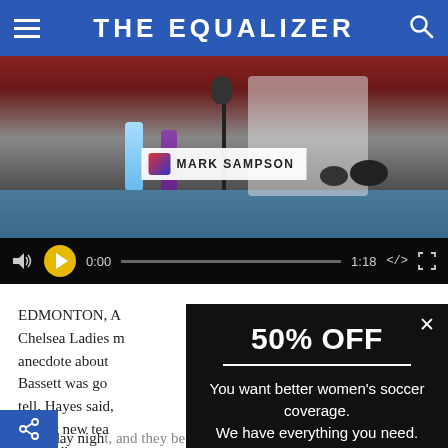THE EQUALIZER
[Figure (screenshot): Video player showing Mark Sampson at a press conference table. Video controls show 0:00 / 1:18 with a yellow play button.]
EDMONTON, A... Chelsea Ladies ... anecdote about ... Bassett was go... tell, Hayes said... mostly new tea... group dinner.
[Figure (infographic): Promotional popup overlay: 50% OFF - You want better women's soccer coverage. We have everything you need. GET HALF OFF button.]
ednesday nigh... and they be for some time to